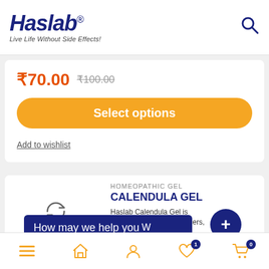Haslab® Live Life Without Side Effects!
₹70.00 ₹100.00
Select options
Add to wishlist
HOMEOPATHIC GEL
CALENDULA GEL
How may we help you
Haslab Calendula Gel  is indicated for Wounds, Ulcers,
Navigation: Menu, Home, Account, Wishlist (1), Cart (0)